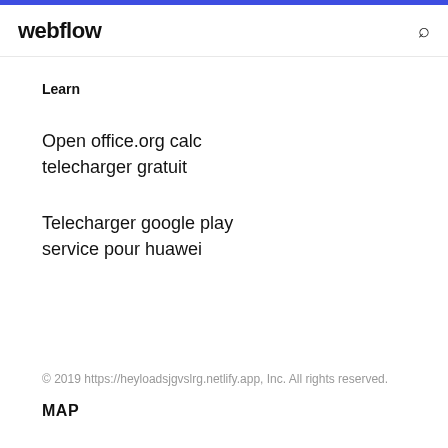webflow
Learn
Open office.org calc telecharger gratuit
Telecharger google play service pour huawei
© 2019 https://heyloadsjgvslrg.netlify.app, Inc. All rights reserved.
MAP